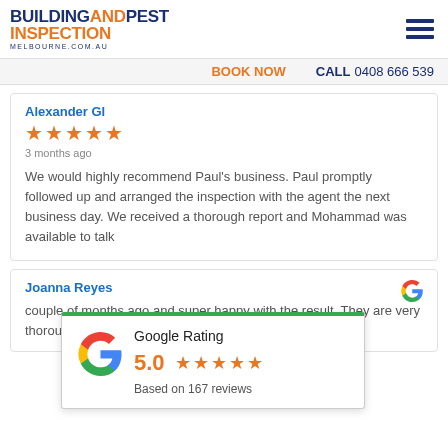[Figure (logo): Building and Pest Inspection Melbourne logo with hamburger menu icon]
BOOK NOW   CALL 0408 666 539
Alexander Gl
3 months ago
We would highly recommend Paul's business. Paul promptly followed up and arranged the inspection with the agent the next business day. We received a thorough report and Mohammad was available to talk
Joanna Reyes
[Figure (infographic): Google Rating popup showing 5.0 stars based on 167 reviews with Google G logo]
couple of months ago and super happy with the result. They are very thorough and picked up on a lot of things we would